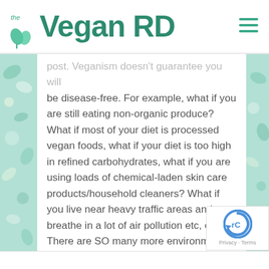the Vegan RD
post. Veganism doesn't guarantee you will be disease-free. For example, what if you are still eating non-organic produce? What if most of your diet is processed vegan foods, what if your diet is too high in refined carbohydrates, what if you are using loads of chemical-laden skin care products/household cleaners? What if you live near heavy traffic areas and breathe in a lot of air pollution etc, etc. There are SO many more environmental factors that are contributing to our development of cancers, being vegan might help a little but it doesn't make you immune.
Privacy · Terms